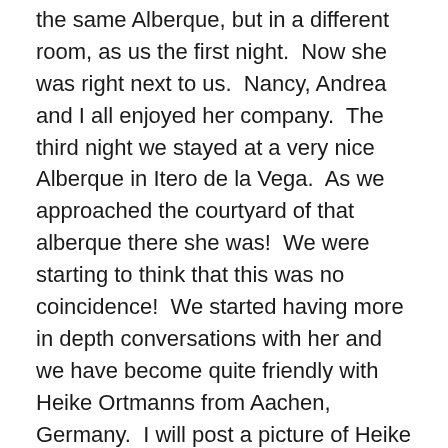the same Alberque, but in a different room, as us the first night.  Now she was right next to us.  Nancy, Andrea and I all enjoyed her company.  The third night we stayed at a very nice Alberque in Itero de la Vega.  As we approached the courtyard of that alberque there she was!  We were starting to think that this was no coincidence!  We started having more in depth conversations with her and we have become quite friendly with Heike Ortmanns from Aachen, Germany.  I will post a picture of Heike very soon.  She is a very kind and friendly lady braving the Camino on her own.  She started her Camino from Burgos like we did and on the same day!  To date, we've been keeping the same pace and using the same strategy of not taking it too hard and trying to develop our hiking legs.  It should be no surprise that we're staying in the same Hostel Santiago in Carrion de los Condes this evening and that tomorrow we